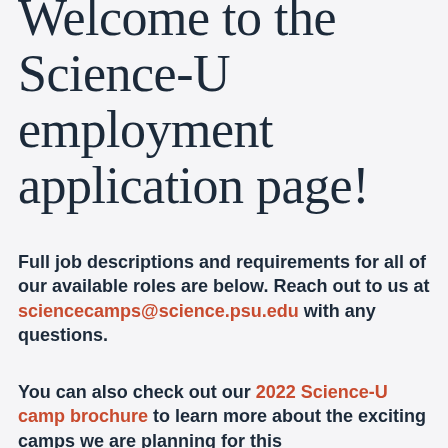Welcome to the Science-U employment application page!
Full job descriptions and requirements for all of our available roles are below. Reach out to us at sciencecamps@science.psu.edu with any questions.
You can also check out our 2022 Science-U camp brochure to learn more about the exciting camps we are planning for this